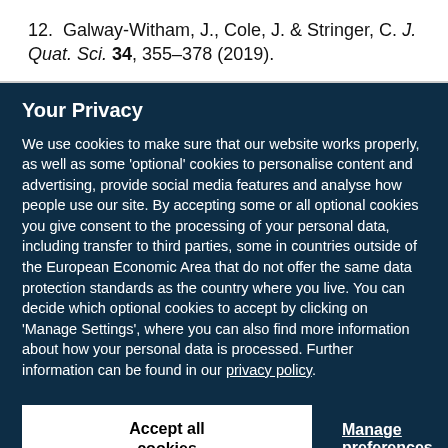12. Galway-Witham, J., Cole, J. & Stringer, C. J. Quat. Sci. 34, 355–378 (2019).
Your Privacy
We use cookies to make sure that our website works properly, as well as some 'optional' cookies to personalise content and advertising, provide social media features and analyse how people use our site. By accepting some or all optional cookies you give consent to the processing of your personal data, including transfer to third parties, some in countries outside of the European Economic Area that do not offer the same data protection standards as the country where you live. You can decide which optional cookies to accept by clicking on 'Manage Settings', where you can also find more information about how your personal data is processed. Further information can be found in our privacy policy.
Accept all cookies
Manage preferences